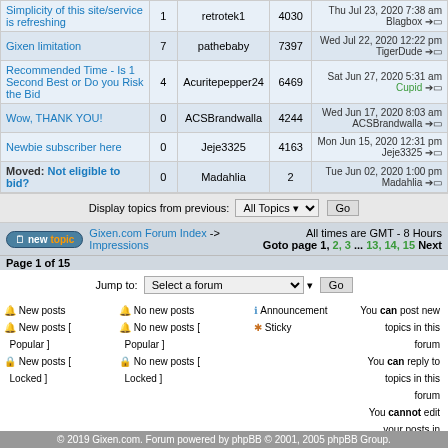| Topic | Replies | Author | Views | Last Post |
| --- | --- | --- | --- | --- |
| Simplicity of this site/service is refreshing | 1 | retrotek1 | 4030 | Thu Jul 23, 2020 7:38 am Blagbox |
| Gixen limitation | 7 | pathebaby | 7397 | Wed Jul 22, 2020 12:22 pm TigerDude |
| Recommended Time - Is 1 Second Best or Do you Risk the Bid | 4 | Acuritepepper24 | 6469 | Sat Jun 27, 2020 5:31 am Cupid |
| Wow, THANK YOU! | 0 | ACSBrandwalla | 4244 | Wed Jun 17, 2020 8:03 am ACSBrandwalla |
| Newbie subscriber here | 0 | Jeje3325 | 4163 | Mon Jun 15, 2020 12:31 pm Jeje3325 |
| Moved: Not eligible to bid? | 0 | Madahlia | 2 | Tue Jun 02, 2020 1:00 pm Madahlia |
Display topics from previous: All Topics Go
Gixen.com Forum Index -> Impressions
All times are GMT - 8 Hours Goto page 1, 2, 3 ... 13, 14, 15 Next
Page 1 of 15
Jump to: Select a forum Go
New posts
New posts [ Popular ]
New posts [ Locked ]
No new posts
No new posts [ Popular ]
No new posts [ Locked ]
Announcement
Sticky
You can post new topics in this forum You can reply to topics in this forum You cannot edit your posts in this forum You cannot delete your posts in this forum You cannot vote in polls in this forum
© 2019 Gixen.com. Forum powered by phpBB © 2001, 2005 phpBB Group.